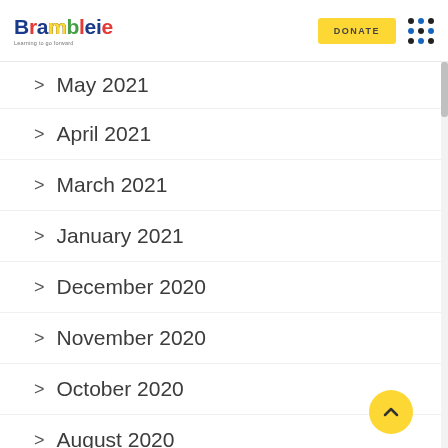Bramble — DONATE navigation header
May 2021
April 2021
March 2021
January 2021
December 2020
November 2020
October 2020
August 2020
May 2020
February 2020